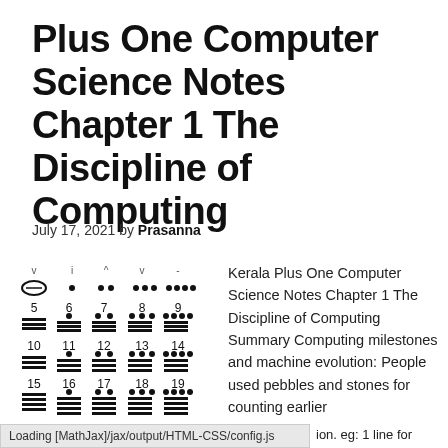Plus One Computer Science Notes Chapter 1 The Discipline of Computing
July 17, 2021 by Prasanna
[Figure (illustration): Maya numerals chart showing symbols for 0–19 with glyphs, dots, and bar lines]
Kerala Plus One Computer Science Notes Chapter 1 The Discipline of Computing Summary Computing milestones and machine evolution: People used pebbles and stones for counting earlier
Loading [MathJax]/jax/output/HTML-CSS/config.js
ion. eg: 1 line for